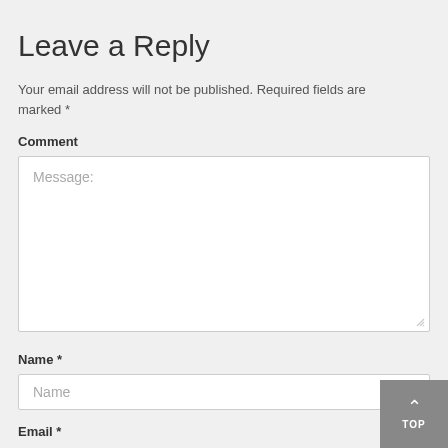Leave a Reply
Your email address will not be published. Required fields are marked *
Comment
[Figure (screenshot): A large text area input field with placeholder text 'Message:']
Name *
[Figure (screenshot): A text input field with placeholder text 'Name']
Email *
[Figure (screenshot): A 'TOP' scroll-to-top button with an upward arrow, displayed in the bottom-right corner]